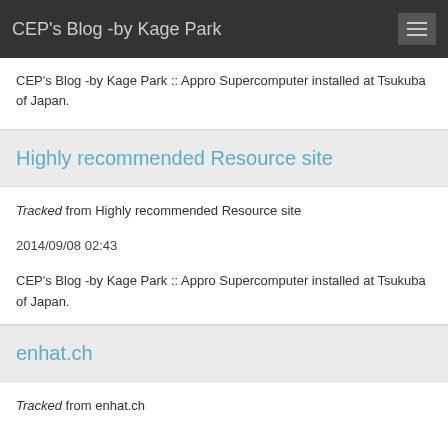CEP's Blog -by Kage Park
CEP's Blog -by Kage Park :: Appro Supercomputer installed at Tsukuba of Japan.
Highly recommended Resource site
Tracked from Highly recommended Resource site

2014/09/08 02:43

CEP's Blog -by Kage Park :: Appro Supercomputer installed at Tsukuba of Japan.
enhat.ch
Tracked from enhat.ch